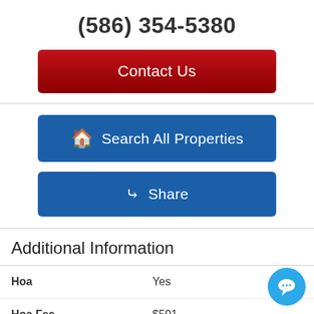(586) 354-5380
Contact Us
Search All Properties
Share
Additional Information
| Field | Value |
| --- | --- |
| Hoa | Yes |
| Hoa Fee | $591 |